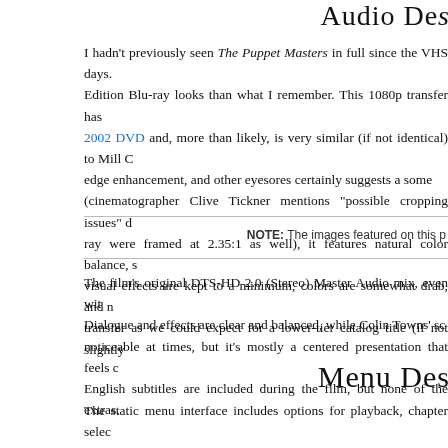Audio Des…
I hadn't previously seen The Puppet Masters in full since the VHS days. Edition Blu-ray looks than what I remember. This 1080p transfer has 2002 DVD and, more than likely, is very similar (if not identical) to Mill C edge enhancement, and other eyesores certainly suggests a some (cinematographer Clive Tickner mentions "possible cropping issues" d ray were framed at 2.35:1 as well), it features natural color balance, s visual effects are kept to a minimum, colors are somewhat drab, and n transfer as we could expect for a lower-tier catalog title (if not slightly
NOTE: The images featured on this p
The film's original DTS-HD 2.0 (Stereo) Master Audio mix, even wit Dialogue and effects are clear and balanced, while Colin Towns' sc noticeable at times, but it's mostly a centered presentation that feels c English subtitles are included during the film, but none of the extras.
Menu Des…
The static menu interface includes options for playback, chapter selec pre-menu distractions. As with most recent Kino Special Edition catal